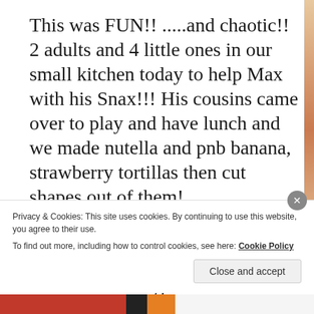This was FUN!! .....and chaotic!! 2 adults and 4 little ones in our small kitchen today to help Max with his Snax!!! His cousins came over to play and have lunch and we made nutella and pnb banana, strawberry tortillas then cut shapes out of them!
The kids all helped cut out their shapes and ate most of them before we even got them on the plates!! I needed a reason to buy
Privacy & Cookies: This site uses cookies. By continuing to use this website, you agree to their use.
To find out more, including how to control cookies, see here: Cookie Policy
Close and accept